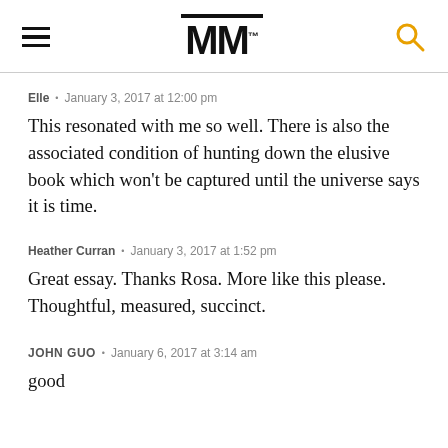MM™
Elle • January 3, 2017 at 12:00 pm
This resonated with me so well. There is also the associated condition of hunting down the elusive book which won't be captured until the universe says it is time.
Heather Curran • January 3, 2017 at 1:52 pm
Great essay. Thanks Rosa. More like this please. Thoughtful, measured, succinct.
JOHN GUO • January 6, 2017 at 3:14 am
good